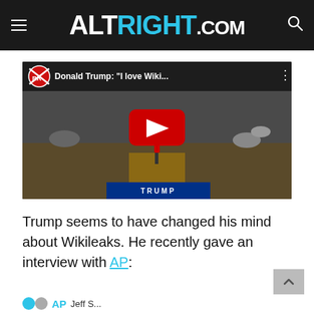ALTRIGHT.COM
[Figure (screenshot): YouTube video thumbnail showing Donald Trump at a rally podium, with title 'Donald Trump: "I love Wiki...' and a red play button overlay. The video is from a channel with RR logo.]
Trump seems to have changed his mind about Wikileaks. He recently gave an interview with AP: